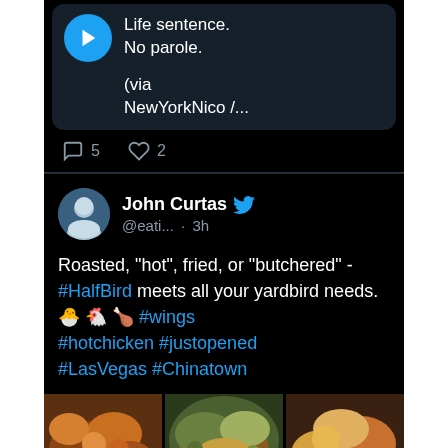Life sentence.
No parole.

(via NewYorkNico /...
5  2
John Curtas @eati... · 3h
Roasted, "hot", fried, or "butchered" - #HalfBird meets all your yardbird needs. 🐣🐔🍗 #wings #hotchicken #justopened #LasVegas #Chinatown
[Figure (photo): Three photos of chicken dishes: fried chicken pieces, salad with fried chicken, and breaded chicken wings]